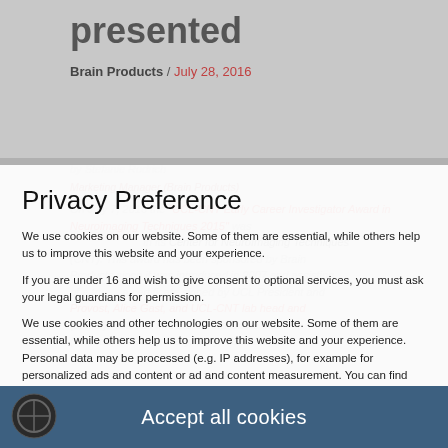presented
Brain Products / July 28, 2016
by Stefanie Rudrich
Marketing Manager (Brain Products)
On July 7, 2016 the "UCL-CNT Early Career Investigator Award in Neuroimaging Techniques 2015" was ...
Privacy Preference
We use cookies on our website. Some of them are essential, while others help us to improve this website and your experience.
If you are under 16 and wish to give consent to optional services, you must ask your legal guardians for permission.
We use cookies and other technologies on our website. Some of them are essential, while others help us to improve this website and your experience. Personal data may be processed (e.g. IP addresses), for example for personalized ads and content or ad and content measurement. You can find more information about the use of your data in our privacy policy. You can revoke or adjust your selection at any time under Settings.
Essential
Statistics
External Media
Accept all cookies